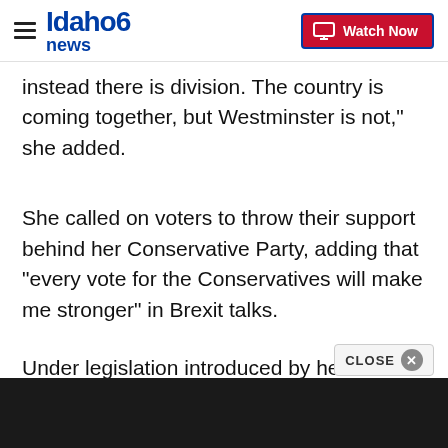Idaho News 6 — Watch Now
instead there is division. The country is coming together, but Westminster is not," she added.
She called on voters to throw their support behind her Conservative Party, adding that "every vote for the Conservatives will make me stronger" in Brexit talks.
Under legislation introduced by her predecessor, David Cameron, an early election needs the support of two-thirds of MPs in parliament's lower House of